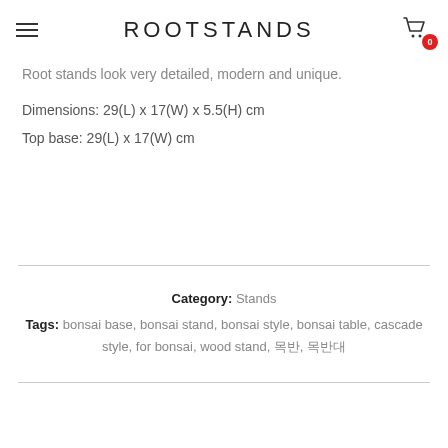ROOTSTANDS
Root stands look very detailed, modern and unique.
Dimensions: 29(L) x 17(W) x 5.5(H) cm
Top base: 29(L) x 17(W) cm
Category: Stands
Tags: bonsai base, bonsai stand, bonsai style, bonsai table, cascade style, for bonsai, wood stand, 목반, 목반대